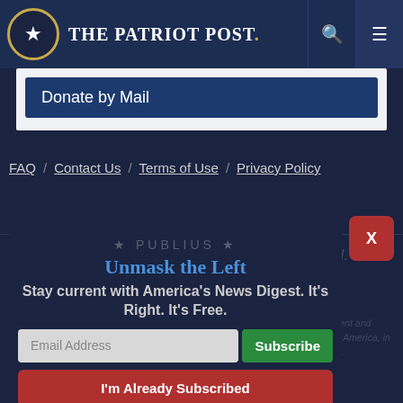The Patriot Post
Donate by Mail
FAQ / Contact Us / Terms of Use / Privacy Policy
[Figure (other): Close button X in red rounded rectangle]
★ PUBLIUS ★
Unmask the Left
Stay current with America's News Digest. It's Right. It's Free.
"Our cause is noble; it is the cause of mankind." —George Washington
The Patriot Post is protected speech, as enumerated in the First Amendment and enforced by the Second Amendment of the Constitution of the United States of America, in accordance with the endowed and inalienable Rights of All Mankind.
Email Address
Subscribe
I'm Already Subscribed
Copyright © 2023 The Patriot Post. All Rights Reserved.